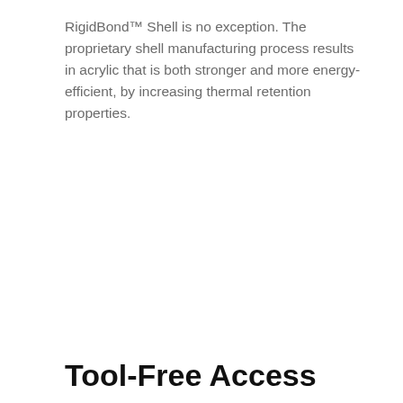RigidBond™ Shell is no exception. The proprietary shell manufacturing process results in acrylic that is both stronger and more energy-efficient, by increasing thermal retention properties.
Tool-Free Access